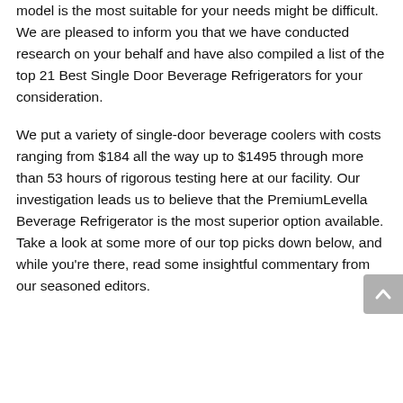Antarctic Star, and many more, determining which model is the most suitable for your needs might be difficult. We are pleased to inform you that we have conducted research on your behalf and have also compiled a list of the top 21 Best Single Door Beverage Refrigerators for your consideration.
We put a variety of single-door beverage coolers with costs ranging from $184 all the way up to $1495 through more than 53 hours of rigorous testing here at our facility. Our investigation leads us to believe that the PremiumLevella Beverage Refrigerator is the most superior option available. Take a look at some more of our top picks down below, and while you're there, read some insightful commentary from our seasoned editors.